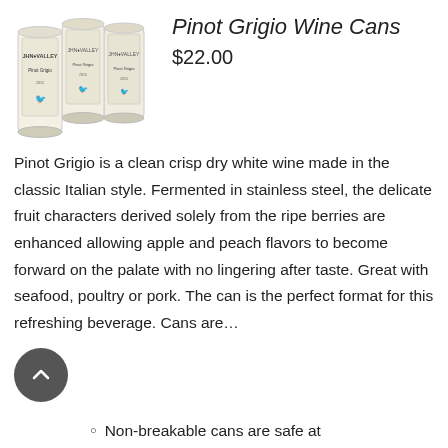[Figure (photo): Three white/cream labeled wine cans (Pinot Grigio) with bird logo, arranged in a cluster]
Pinot Grigio Wine Cans
$22.00
Pinot Grigio is a clean crisp dry white wine made in the classic Italian style. Fermented in stainless steel, the delicate fruit characters derived solely from the ripe berries are enhanced allowing apple and peach flavors to become forward on the palate with no lingering after taste. Great with seafood, poultry or pork. The can is the perfect format for this refreshing beverage. Cans are…
Non-breakable cans are safe at